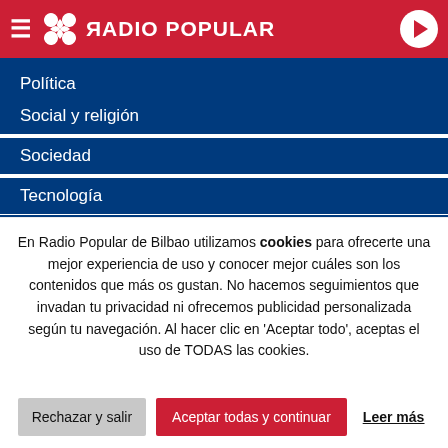RADIO POPULAR
Política
Social y religión
Sociedad
Tecnología
Programas
EgunOn Bizkaia
EgunOn Magazine
Euskadin Gaur
Es Posible
En Radio Popular de Bilbao utilizamos cookies para ofrecerte una mejor experiencia de uso y conocer mejor cuáles son los contenidos que más os gustan. No hacemos seguimientos que invadan tu privacidad ni ofrecemos publicidad personalizada según tu navegación. Al hacer clic en 'Aceptar todo', aceptas el uso de TODAS las cookies.
Rechazar y salir | Aceptar todas y continuar | Leer más